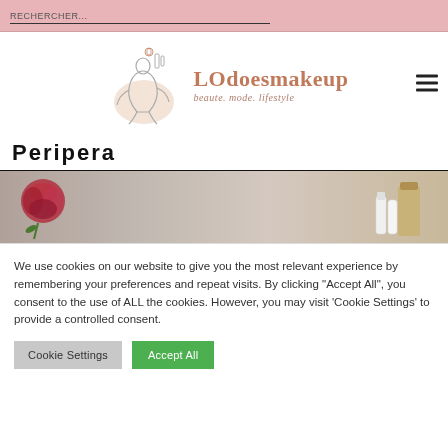RECHERCHER...
[Figure (logo): LOdoesmakeup logo with stylized line-art figure and text 'LOdoesmakeup beaute. mode. lifestyle']
Peripera
[Figure (photo): Photo of red rose and cosmetic bottles/tubes on a neutral background]
We use cookies on our website to give you the most relevant experience by remembering your preferences and repeat visits. By clicking "Accept All", you consent to the use of ALL the cookies. However, you may visit 'Cookie Settings' to provide a controlled consent.
Cookie Settings | Accept All